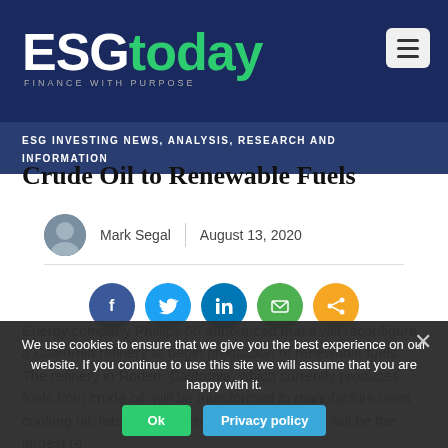ESGtoday - FINANCE WITH PURPOSE
ESG INVESTING NEWS, ANALYSIS, RESEARCH AND INFORMATION
Crude Oil to Renewable Fuels
Mark Segal | August 13, 2020
[Figure (infographic): Social share icons row: Facebook (blue), Twitter (light blue), LinkedIn (dark blue), Email (green), Share (orange)]
Energy company Phillips 66 announced that it will reconfigure a California refinery to begin production of renewable fuels. The refinery in Rodeo, California, which currently produces fuels from crude oil, will be transformed to manufacture used cooking oil, fats, greases and soybean oils, and will be the largest renewable fuels...
We use cookies to ensure that we give you the best experience on our website. If you continue to use this site we will assume that you are happy with it.